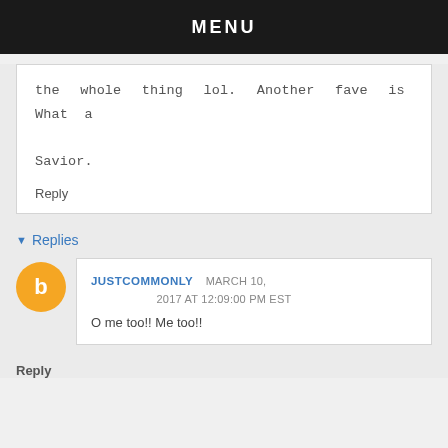MENU
the whole thing lol. Another fave is What a Savior.
Reply
▾ Replies
JUSTCOMMONLY   MARCH 10, 2017 AT 12:09:00 PM EST
O me too!! Me too!!
Reply